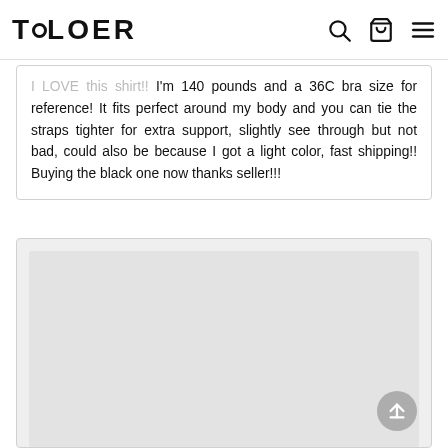TOLOER
I LOVE this shirt!! I'm 140 pounds and a 36C bra size for reference! It fits perfect around my body and you can tie the straps tighter for extra support, slightly see through but not bad, could also be because I got a light color, fast shipping!! Buying the black one now thanks seller!!!
[Figure (photo): A partially visible product review card with a light gray placeholder image area below]